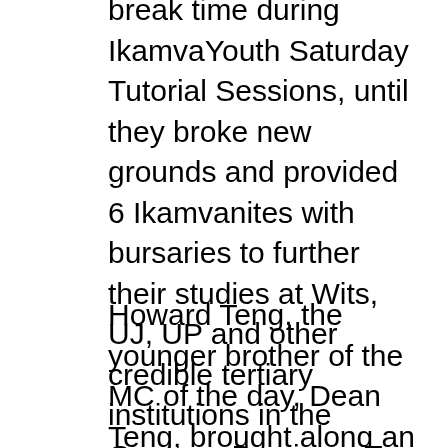break time during IkamvaYouth Saturday Tutorial Sessions, until they broke new grounds and provided 6 Ikamvanites with bursaries to further their studies at Wits, UJ, UP and other credible tertiary institutions in the Gauteng Province. Tzu Chi volunteers are visiting Ikamvanites' homes to assess the need and intervene accordingly. This provides a holistic approach to leaners and gives other learners opportunities to change to lives of other community members.
Howard Teng, the younger brother of the MC of the day, Dean Teng, brought along an energetic, physically fit, and knowledgeable professional who was kind enough to introduce rare careers in the townships of